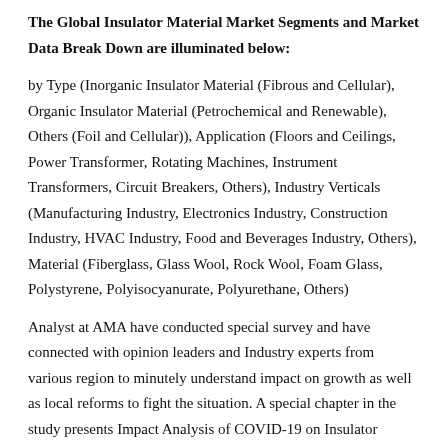The Global Insulator Material Market Segments and Market Data Break Down are illuminated below:
by Type (Inorganic Insulator Material (Fibrous and Cellular), Organic Insulator Material (Petrochemical and Renewable), Others (Foil and Cellular)), Application (Floors and Ceilings, Power Transformer, Rotating Machines, Instrument Transformers, Circuit Breakers, Others), Industry Verticals (Manufacturing Industry, Electronics Industry, Construction Industry, HVAC Industry, Food and Beverages Industry, Others), Material (Fiberglass, Glass Wool, Rock Wool, Foam Glass, Polystyrene, Polyisocyanurate, Polyurethane, Others)
Analyst at AMA have conducted special survey and have connected with opinion leaders and Industry experts from various region to minutely understand impact on growth as well as local reforms to fight the situation. A special chapter in the study presents Impact Analysis of COVID-19 on Insulator Material Market along with tables and graphs related to various country and segments showcasing impact on growth trends.